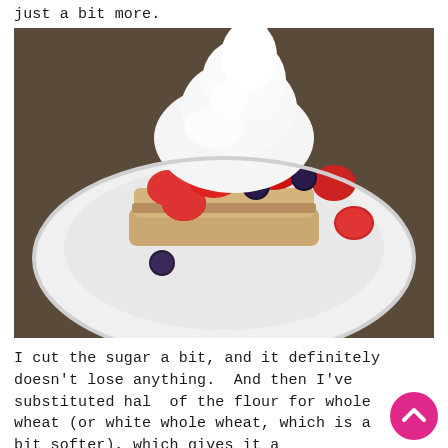just a bit more.
[Figure (photo): A plate with strawberry shortcake: layers of biscuit topped with fresh strawberries and blueberries, with a large mound of whipped cream on top, served on a white plate.]
I cut the sugar a bit, and it definitely doesn't lose anything.  And then I've substituted half of the flour for whole wheat (or white whole wheat, which is a bit softer), which gives it a